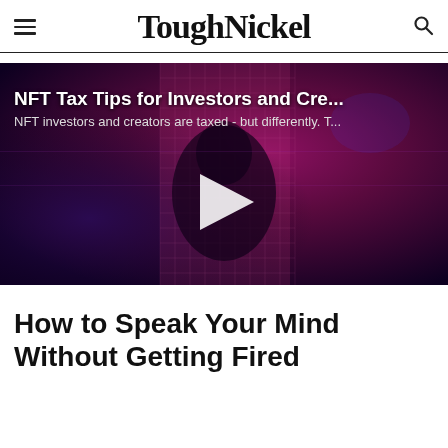ToughNickel
[Figure (screenshot): Video thumbnail for 'NFT Tax Tips for Investors and Cre...' with subtitle 'NFT investors and creators are taxed - but differently. T...' on a dark purple/pink digital background with a play button]
How to Speak Your Mind Without Getting Fired